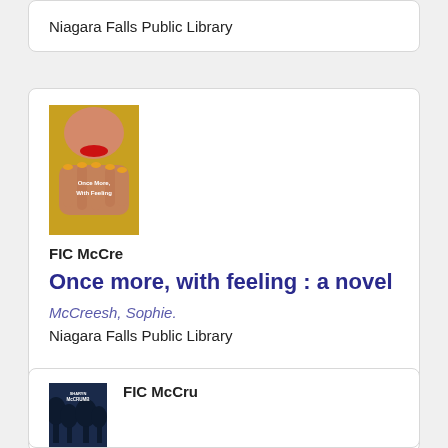Niagara Falls Public Library
[Figure (photo): Book cover for 'Once more, with feeling: a novel' by Sophie McCreesh, showing a woman's face with red lips and hands raised]
FIC McCre
Once more, with feeling : a novel
McCreesh, Sophie.
Niagara Falls Public Library
[Figure (photo): Book cover for a Sharyn McCrumb novel, showing a dark blue scene with trees]
FIC McCru